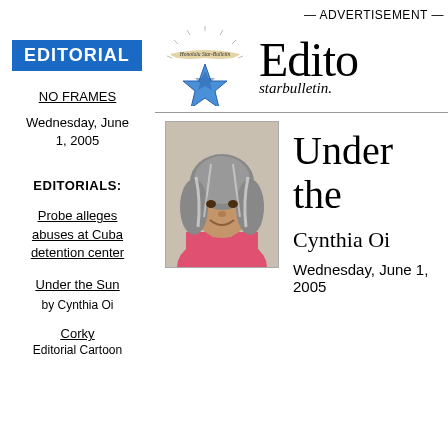EDITORIAL
NO FRAMES
Wednesday, June 1, 2005
EDITORIALS:
Probe alleges abuses at Cuba detention center
Under the Sun by Cynthia Oi
Corky Editorial Cartoon
— ADVERTISEMENT —
[Figure (logo): Honolulu Star-Bulletin logo with blue star and banner, followed by 'Edito' and 'starbulletin.' text]
Under the Sun
Cynthia Oi
Wednesday, June 1, 2005
[Figure (photo): Portrait photo of Cynthia Oi, a woman with gray-streaked hair wearing a pink top]